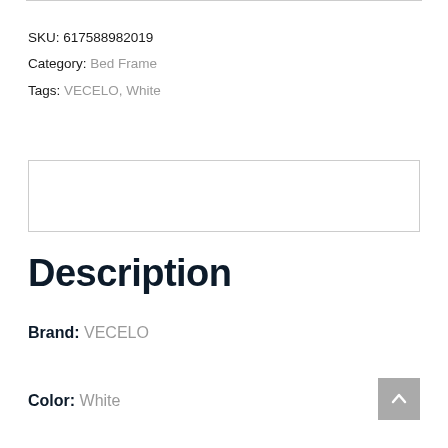SKU: 617588982019
Category: Bed Frame
Tags: VECELO, White
[Figure (other): Empty input/text box with light grey border]
Description
Brand: VECELO
Color: White